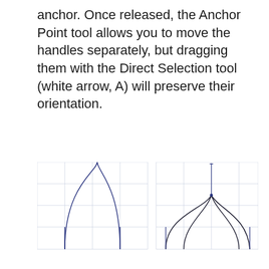anchor. Once released, the Anchor Point tool allows you to move the handles separately, but dragging them with the Direct Selection tool (white arrow, A) will preserve their orientation.
[Figure (illustration): Two diagrams side by side on a light grid background. Left diagram shows two smooth arch curves (like an arch shape) with control handles visible at the bottom corners. Right diagram shows a cusp/spike shape where two curves meet at a sharp point at the top, with a vertical control handle extending upward from the cusp point.]